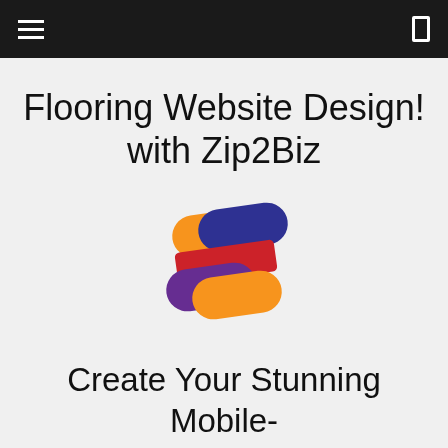Flooring Website Design!
with Zip2Biz
[Figure (logo): Zip2Biz logo: a stylized Z shape made of overlapping pill/rounded shapes in orange, blue, red, purple, and yellow/orange colors]
Create Your Stunning Mobile-Friendly Website Quickly and